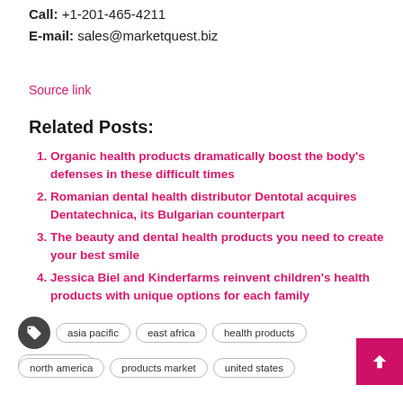Call: +1-201-465-4211
E-mail: sales@marketquest.biz
Source link
Related Posts:
Organic health products dramatically boost the body's defenses in these difficult times
Romanian dental health distributor Dentotal acquires Dentatechnica, its Bulgarian counterpart
The beauty and dental health products you need to create your best smile
Jessica Biel and Kinderfarms reinvent children's health products with unique options for each family
asia pacific  east africa  health products  middle east  north america  products market  united states